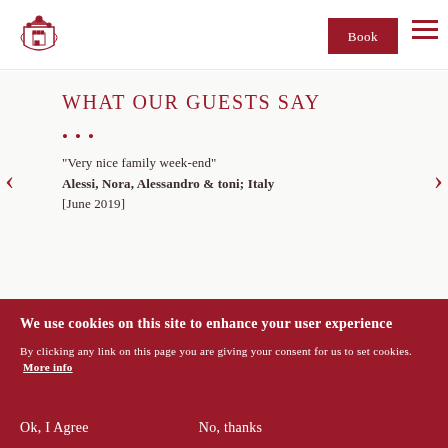[Figure (logo): Hotel/castle crest logo in dark red]
Book
WHAT OUR GUESTS SAY
...
"Very nice family week-end"
Alessi, Nora, Alessandro & toni; Italy
[June 2019]
We use cookies on this site to enhance your user experience
By clicking any link on this page you are giving your consent for us to set cookies. More info
Ok, I Agree
No, thanks